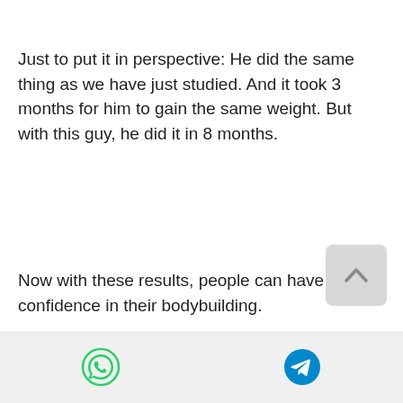Just to put it in perspective: He did the same thing as we have just studied. And it took 3 months for him to gain the same weight. But with this guy, he did it in 8 months.
Now with these results, people can have confidence in their bodybuilding.
I'm not saying that a bodybuilder has to increase his training a lot, because many do. But those who want to do well, need to increase to do it right. You can't do it too much. If you increase it too much, you will find a very low level of training that results only in a slight bodyweight. This is like training to a level of golf to gain 10 pounds
[Figure (other): Bottom navigation bar with WhatsApp (green chat bubble icon) and Telegram (blue paper plane icon) share buttons]